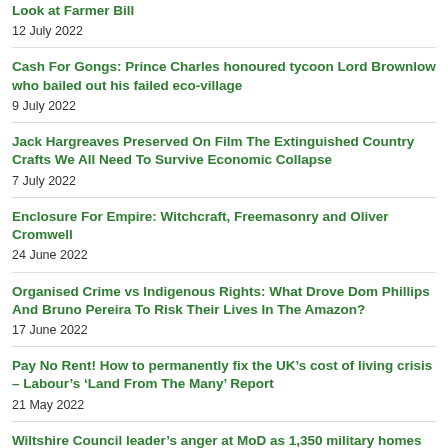Look at Farmer Bill
12 July 2022
Cash For Gongs: Prince Charles honoured tycoon Lord Brownlow who bailed out his failed eco-village
9 July 2022
Jack Hargreaves Preserved On Film The Extinguished Country Crafts We All Need To Survive Economic Collapse
7 July 2022
Enclosure For Empire: Witchcraft, Freemasonry and Oliver Cromwell
24 June 2022
Organised Crime vs Indigenous Rights: What Drove Dom Phillips And Bruno Pereira To Risk Their Lives In The Amazon?
17 June 2022
Pay No Rent! How to permanently fix the UK's cost of living crisis – Labour's 'Land From The Many' Report
21 May 2022
Wiltshire Council leader's anger at MoD as 1,350 military homes lie empty for years
30 May 2022